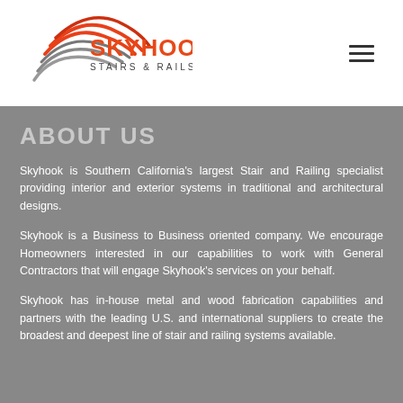[Figure (logo): Skyhook Stairs & Rails logo with red and gray swoosh graphic and orange/red text]
ABOUT US
Skyhook is Southern California's largest Stair and Railing specialist providing interior and exterior systems in traditional and architectural designs.
Skyhook is a Business to Business oriented company. We encourage Homeowners interested in our capabilities to work with General Contractors that will engage Skyhook's services on your behalf.
Skyhook has in-house metal and wood fabrication capabilities and partners with the leading U.S. and international suppliers to create the broadest and deepest line of stair and railing systems available.